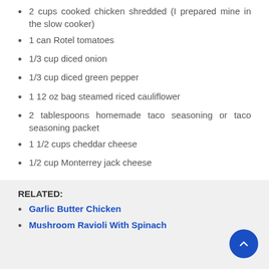2 cups cooked chicken shredded (I prepared mine in the slow cooker)
1 can Rotel tomatoes
1/3 cup diced onion
1/3 cup diced green pepper
1 12 oz bag steamed riced cauliflower
2 tablespoons homemade taco seasoning or taco seasoning packet
1 1/2 cups cheddar cheese
1/2 cup Monterrey jack cheese
RELATED:
Garlic Butter Chicken
Mushroom Ravioli With Spinach